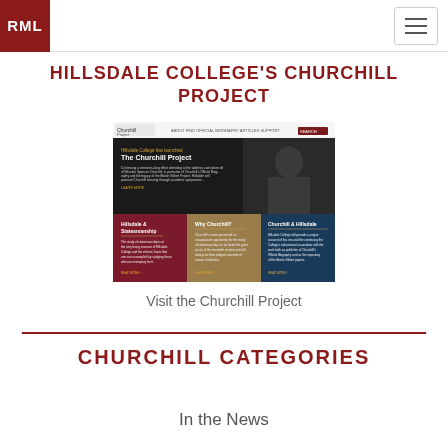RML
HILLSDALE COLLEGE'S CHURCHILL PROJECT
[Figure (screenshot): Screenshot of the Hillsdale College Churchill Project website showing header navigation, a banner with Winston Churchill image and text 'Hillsdale College has launched The Churchill Project', and three content panels: 'Hillsdale & Statesmanship', 'Why Churchill?', and 'Churchill & Hillsdale']
Visit the Churchill Project
CHURCHILL CATEGORIES
In the News